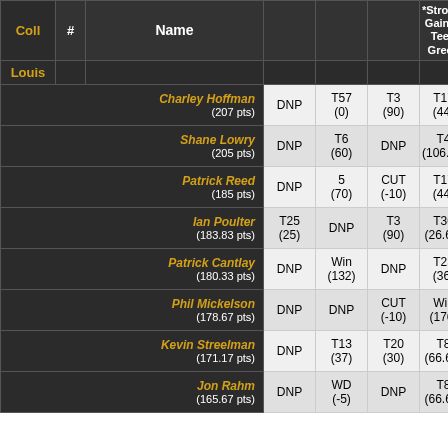| Coll | # | Name |  |  |  | *Strokes Gained Tee-Green |
| --- | --- | --- | --- | --- | --- | --- |
| Louis |  |  |  |  |  |  |
|  |  | Charley Hoffman (207 pts) | DNP | T57 (0) | T3 (90) | T17 (44) |
|  |  | Shane Lowry (205 pts) | DNP | T6 (60) | DNP | T4 (106.67) |
|  |  | Patrick Reed (185 pts) | DNP | 5 (70) | CUT (-10) | T17 (44) |
|  |  | Ian Poulter (183.83 pts) | T25 (25) | DNP | T3 (90) | T30 (26.67) |
|  |  | Patrick Cantlay (180.33 pts) | DNP | Win (132) | DNP | T23 (36) |
|  |  | Phil Mickelson (178.67 pts) | DNP | DNP | CUT (-10) | Win (176) |
|  |  | Kevin Streelman (171.17 pts) | DNP | T13 (37) | T20 (30) | T8 (66.67) |
|  |  | Jon Rahm (165.67 pts) | DNP | WD (-5) | DNP | T8 (66.67) |